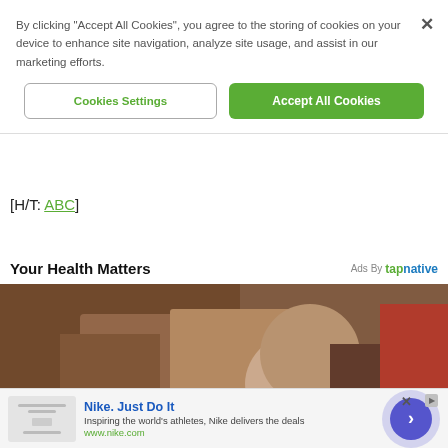By clicking “Accept All Cookies”, you agree to the storing of cookies on your device to enhance site navigation, analyze site usage, and assist in our marketing efforts.
[Figure (other): Cookie consent dialog with two buttons: 'Cookies Settings' (outlined) and 'Accept All Cookies' (green). An X close button is in the top right.]
[H/T: ABC]
Your Health Matters
[Figure (photo): A photo showing legs in brown shorts and a woman with blonde hair, partial face visible.]
[Figure (other): Advertisement banner: Nike. Just Do It. Inspiring the world's athletes, Nike delivers the deals. www.nike.com]